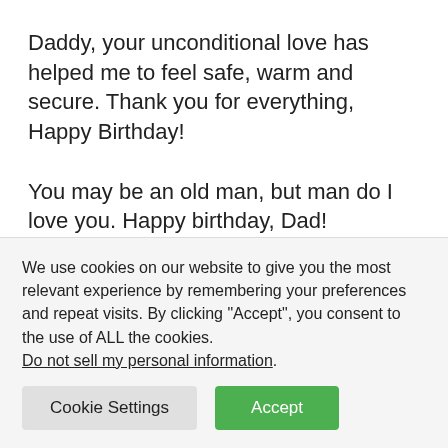Daddy, your unconditional love has helped me to feel safe, warm and secure. Thank you for everything, Happy Birthday!
You may be an old man, but man do I love you. Happy birthday, Dad!
Dad, thanks for being the best friend I could ever have. Happy Birthday to you!
We use cookies on our website to give you the most relevant experience by remembering your preferences and repeat visits. By clicking “Accept”, you consent to the use of ALL the cookies.
Do not sell my personal information.